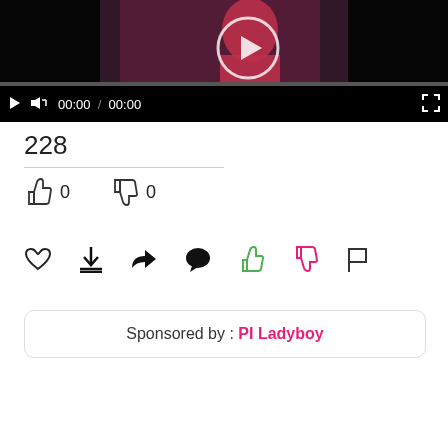[Figure (screenshot): Video player with thumbnail showing a person in a red dress, play button overlay, progress bar, and controls showing 00:00 / 00:00 with play, volume, and fullscreen buttons]
228
0   0
[Figure (infographic): Row of action icons: heart, download, share, comment, thumbs-up (green), thumbs-down (pink/red), flag]
Sponsored by : PI Ladyboy